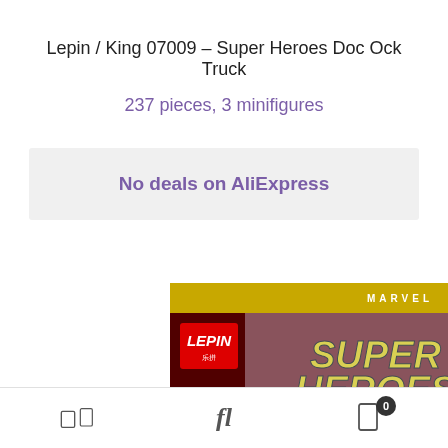Lepin / King 07009 – Super Heroes Doc Ock Truck
237 pieces, 3 minifigures
No deals on AliExpress
[Figure (photo): Product box photo of Lepin / King 07009 Super Heroes Marvel set showing the box artwork with minifigures including Captain America and other heroes, with a partially visible diagonal line element]
Share | fl | Bookmark 0